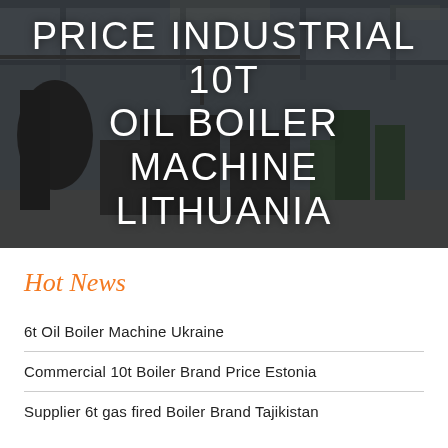[Figure (photo): Industrial factory/warehouse interior with large boiler machines and equipment, dimly lit, with overhead lighting. Text overlay reads PRICE INDUSTRIAL 10T OIL BOILER MACHINE LITHUANIA in white uppercase letters.]
PRICE INDUSTRIAL 10T OIL BOILER MACHINE LITHUANIA
Hot News
6t Oil Boiler Machine Ukraine
Commercial 10t Boiler Brand Price Estonia
Supplier 6t gas fired Boiler Brand Tajikistan